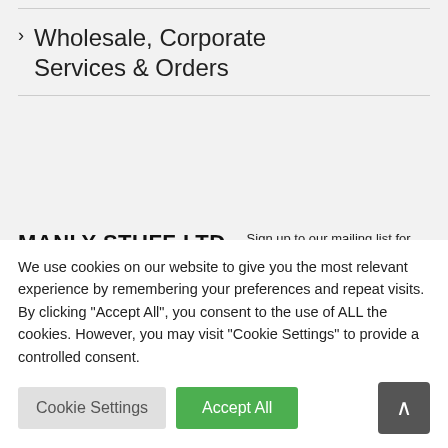> Wholesale, Corporate Services & Orders
MANLY STUFF LTD,
17 Ashe Street,
Clonakilty
Sign up to our mailing list for exclusive deals & discounts:
Subscribe
We use cookies on our website to give you the most relevant experience by remembering your preferences and repeat visits. By clicking "Accept All", you consent to the use of ALL the cookies. However, you may visit "Cookie Settings" to provide a controlled consent.
Cookie Settings
Accept All